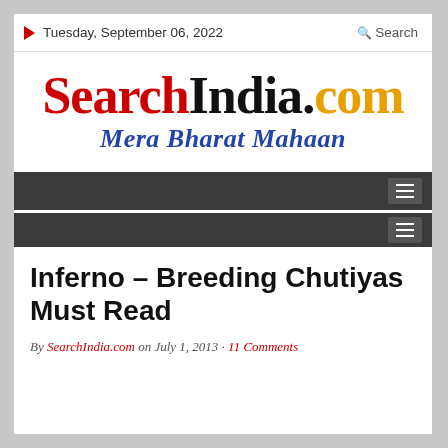Tuesday, September 06, 2022   Search
SearchIndia.com Mera Bharat Mahaan
[Figure (other): Navigation bar with hamburger menu icon (dark gray background)]
[Figure (other): Second navigation bar with hamburger menu icon (dark gray background)]
Inferno – Breeding Chutiyas Must Read
By SearchIndia.com on July 1, 2013 · 11 Comments